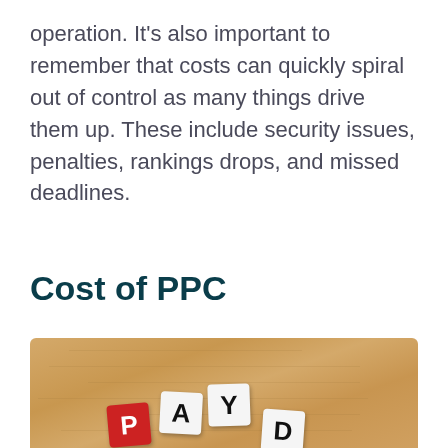operation. It's also important to remember that costs can quickly spiral out of control as many things drive them up. These include security issues, penalties, rankings drops, and missed deadlines.
Cost of PPC
[Figure (photo): Photo of letter dice on a wooden surface spelling out PAY D, with the letter P on a red dice and A, Y, D on white dice]